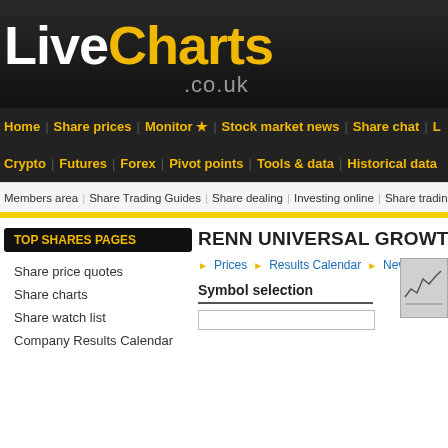[Figure (logo): LiveCharts.co.uk logo on dark background]
Home | Share prices | Monitor ★ | Stock market news | Share chat | L... Crypto | Futures | Forex | Pivot points | Tools & data | Historical data
Members area | Share Trading Guides | Share dealing | Investing online | Share trading | A...
TOP SHARES PAGES
Share price quotes
Share charts
Share watch list
Company Results Calendar
RENN UNIVERSAL GROWTH IN...
▶ Prices  ▶ Results Calendar  ▶ News  ▶ Watc...
Symbol selection
[Figure (screenshot): Small chart thumbnail in top right corner of content area]